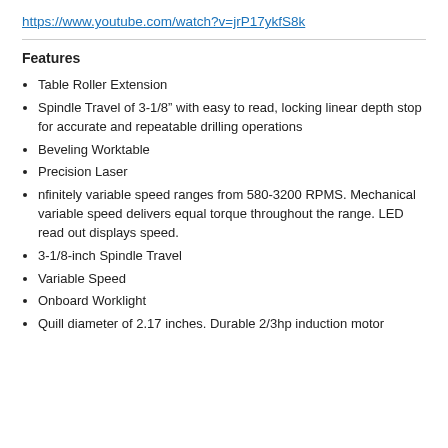https://www.youtube.com/watch?v=jrP17ykfS8k
Features
Table Roller Extension
Spindle Travel of 3-1/8" with easy to read, locking linear depth stop for accurate and repeatable drilling operations
Beveling Worktable
Precision Laser
nfinitely variable speed ranges from 580-3200 RPMS. Mechanical variable speed delivers equal torque throughout the range. LED read out displays speed.
3-1/8-inch Spindle Travel
Variable Speed
Onboard Worklight
Quill diameter of 2.17 inches. Durable 2/3hp induction motor